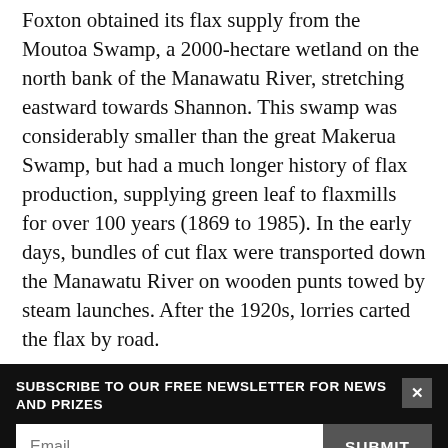Foxton obtained its flax supply from the Moutoa Swamp, a 2000-hectare wetland on the north bank of the Manawatu River, stretching eastward towards Shannon. This swamp was considerably smaller than the great Makerua Swamp, but had a much longer history of flax production, supplying green leaf to flaxmills for over 100 years (1869 to 1985). In the early days, bundles of cut flax were transported down the Manawatu River on wooden punts towed by steam launches. After the 1920s, lorries carted the flax by road.
SUBSCRIBE TO OUR FREE NEWSLETTER FOR NEWS AND PRIZES
3 FREE ARTICLES LEFT
Subscribe for $1 | Sign in